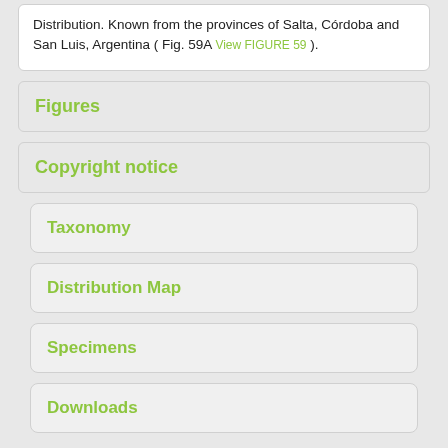Distribution. Known from the provinces of Salta, Córdoba and San Luis, Argentina ( Fig. 59A View FIGURE 59 ).
Figures
Copyright notice
Taxonomy
Distribution Map
Specimens
Downloads